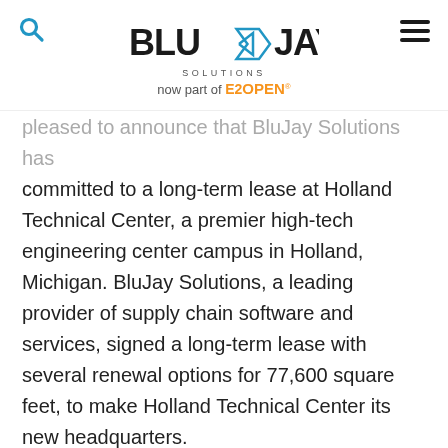BluJay Solutions — now part of E2OPEN
pleased to announce that BluJay Solutions has committed to a long-term lease at Holland Technical Center, a premier high-tech engineering center campus in Holland, Michigan. BluJay Solutions, a leading provider of supply chain software and services, signed a long-term lease with several renewal options for 77,600 square feet, to make Holland Technical Center its new headquarters.
BluJay Solutions moved into facility in December. The company joins YanFeng Automotive Interiors and Adient as tenants at this unique 750,000 SF campus setting, conveniently located near I-196, 25 miles